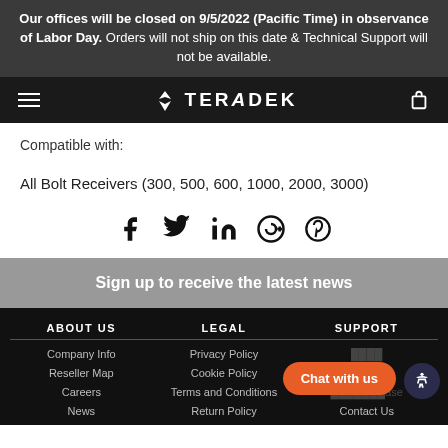Our offices will be closed on 9/5/2022 (Pacific Time) in observance of Labor Day. Orders will not ship on this date & Technical Support will not be available.
[Figure (logo): Teradek logo with hamburger menu and cart icon on dark navigation bar]
Compatible with:
All Bolt Receivers (300, 500, 600, 1000, 2000, 3000)
[Figure (illustration): Social media share icons: Facebook, Twitter, LinkedIn, Google+, Pinterest]
Sign up to receive the latest news
ABOUT US — Company Info, Reseller Map, Careers, News
LEGAL — Privacy Policy, Cookie Policy, Terms and Conditions, Return Policy
SUPPORT — Contact Us